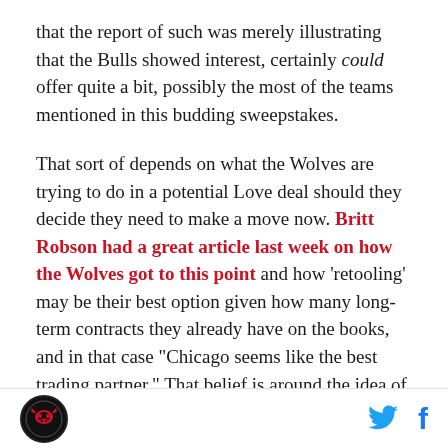that the report of such was merely illustrating that the Bulls showed interest, certainly could offer quite a bit, possibly the most of the teams mentioned in this budding sweepstakes.
That sort of depends on what the Wolves are trying to do in a potential Love deal should they decide they need to make a move now. Britt Robson had a great article last week on how the Wolves got to this point and how 'retooling' may be their best option given how many long-term contracts they already have on the books, and in that case "Chicago seems like the best trading partner." That belief is around the idea of Taj Gibson complementing the defensively-challenged
[Figure (logo): Circular logo with red bull skull icon on black background]